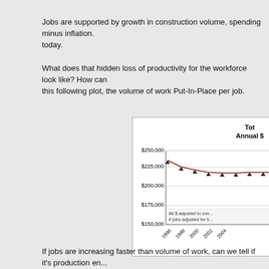Jobs are supported by growth in construction volume, spending minus inflation. today.
What does that hidden loss of productivity for the workforce look like? How can this following plot, the volume of work Put-In-Place per job.
[Figure (line-chart): Line chart showing Total Annual $ Put-In-Place per job from 1996 to 2004+, declining from ~$237,000 in 1996 to ~$221,000. Y-axis: $150,000 to $250,000. Note: All $ adjusted to constant, # jobs adjusted for h...]
If jobs are increasing faster than volume of work, can we tell if it's production en...